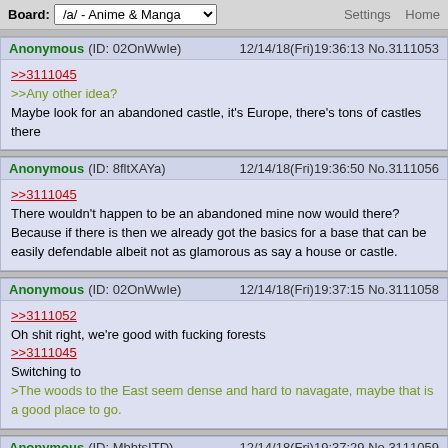Board: /a/ - Anime & Manga  Settings  Home
Anonymous (ID: 02OnWwIe) 12/14/18(Fri)19:36:13 No.3111053
>>3111045
>>Any other idea?
Maybe look for an abandoned castle, it's Europe, there's tons of castles there
Anonymous (ID: 8fltXAYa) 12/14/18(Fri)19:36:50 No.3111056
>>3111045
There wouldn't happen to be an abandoned mine now would there? Because if there is then we already got the basics for a base that can be easily defendable albeit not as glamorous as say a house or castle.
Anonymous (ID: 02OnWwIe) 12/14/18(Fri)19:37:15 No.3111058
>>3111052
Oh shit right, we're good with fucking forests
>>3111045
Switching to
>The woods to the East seem dense and hard to navagate, maybe that is a good place to go.
Anonymous (ID: MbhtsITD) 12/14/18(Fri)19:37:29 No.3111059